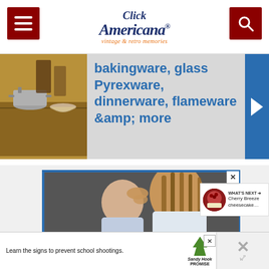Click Americana® – vintage & retro memories
[Figure (screenshot): Article banner showing kitchen scene with cookware, blue text overlay reading 'bakingware, glass Pyrexware, dinnerware, flameware &amp; more', and a blue sidebar with arrow]
[Figure (photo): Advertisement showing a mother kissing a child on the forehead with text 'Give support to people recovering from crisis.']
Give support to people recovering from crisis.
WHAT'S NEXT → Cherry Breeze cheesecake…
[Figure (screenshot): Bottom advertisement bar: 'Learn the signs to prevent school shootings.' with Sandy Hook Promise logo]